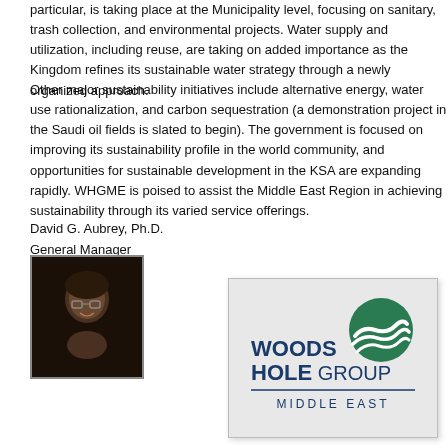particular, is taking place at the Municipality level, focusing on sanitary, trash collection, and environmental projects. Water supply and utilization, including reuse, are taking on added importance as the Kingdom refines its sustainable water strategy through a newly organized approach.
Other major sustainability initiatives include alternative energy, water use rationalization, and carbon sequestration (a demonstration project in the Saudi oil fields is slated to begin). The government is focused on improving its sustainability profile in the world community, and opportunities for sustainable development in the KSA are expanding rapidly. WHGME is poised to assist the Middle East Region in achieving sustainability through its varied service offerings.
David G. Aubrey, Ph.D.
General Manager
[Figure (photo): Portrait photo of David G. Aubrey, Ph.D., General Manager]
[Figure (logo): Woods Hole Group Middle East logo — green circle with wave lines, bold text WOODS HOLE GROUP, MIDDLE EAST below]